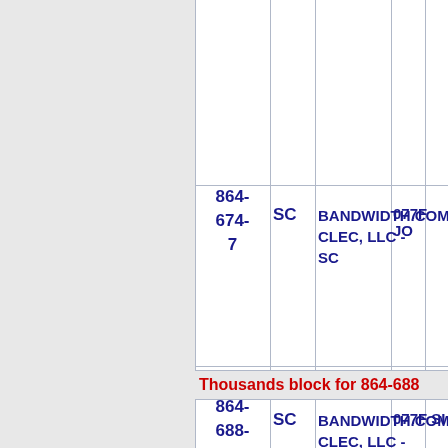| Number | State | Carrier | OCN | Type |
| --- | --- | --- | --- | --- |
| 864-674-7 | SC | BANDWIDTH.COM CLEC, LLC - SC | 077F | JO |
| 864-688-9 | SC | BANDWIDTH.COM CLEC, LLC - SC | 077F | SI |
Thousands block for 864-688